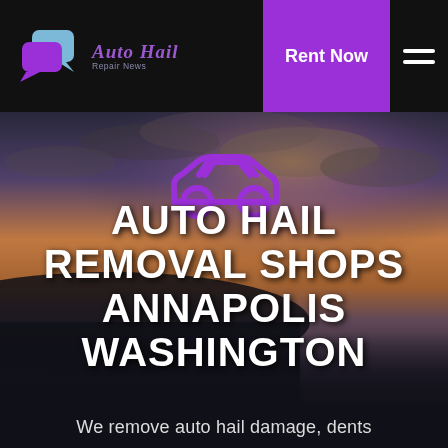Auto Hail Repair News — Rent Now
[Figure (screenshot): Auto Hail Repair News website screenshot showing navigation bar with purple logo, Rent Now button, hamburger menu, hero section with purple car icon over a dramatic sunset sky, and title text AUTO HAIL REMOVAL SHOPS ANNAPOLIS WASHINGTON with tagline We remove auto hail damage, dents]
AUTO HAIL REMOVAL SHOPS ANNAPOLIS WASHINGTON
We remove auto hail damage, dents